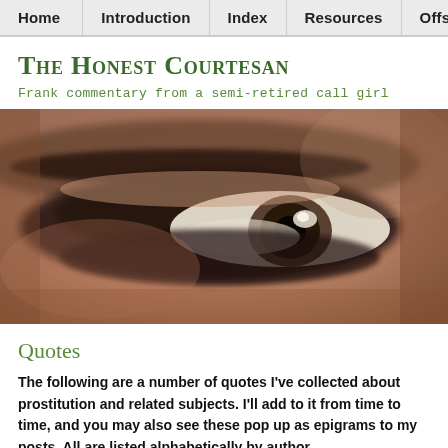Home | Introduction | Index | Resources | Offsite
The Honest Courtesan
Frank commentary from a semi-retired call girl
[Figure (photo): Close-up photograph of a heavily eye-shadowed/made-up eye, cropped to show only the eye and surrounding skin area in warm skin tones with dark eye makeup.]
Quotes
The following are a number of quotes I've collected about prostitution and related subjects.  I'll add to it from time to time, and you may also see these pop up as epigrams to my posts.  All are listed alphabetically by author.